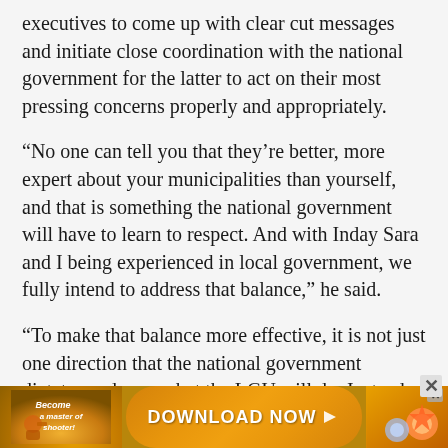executives to come up with clear cut messages and initiate close coordination with the national government for the latter to act on their most pressing concerns properly and appropriately.
“No one can tell you that they’re better, more expert about your municipalities than yourself, and that is something the national government will have to learn to respect. And with Inday Sara and I being experienced in local government, we fully intend to address that balance,” he said.
“To make that balance more effective, it is not just one direction that the national government dictates and says what the LGU will do. Instead, the local government and the national government should
[Figure (other): Advertisement banner at the bottom: orange/gold background with shooter game ad. Left section shows italic text 'Become a master of shooter!', center shows orange rounded button with 'DOWNLOAD NOW' text, right section shows colorful game characters.]